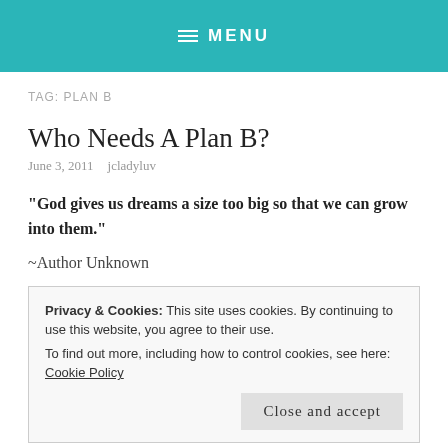MENU
TAG: PLAN B
Who Needs A Plan B?
June 3, 2011   jcladyluv
“God gives us dreams a size too big so that we can grow into them.”
~Author Unknown
Privacy & Cookies: This site uses cookies. By continuing to use this website, you agree to their use.
To find out more, including how to control cookies, see here: Cookie Policy
Close and accept
exhausted from working a job that I hate just to pay the